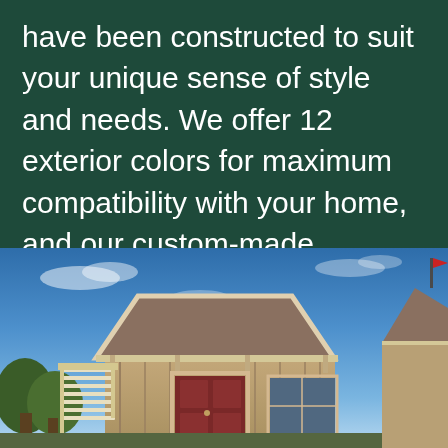have been constructed to suit your unique sense of style and needs. We offer 12 exterior colors for maximum compatibility with your home, and our custom-made timbered components create a sturdy structure on-site.
[Figure (photo): Exterior photo of a custom timber-framed building with a peaked roof, brown siding, dark red door, and white pergola structure on the left side, set against a blue sky with light clouds and green trees in the background.]